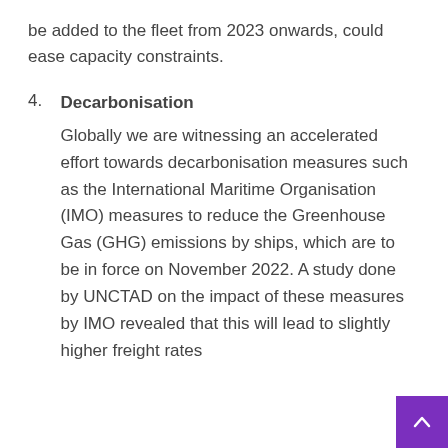be added to the fleet from 2023 onwards, could ease capacity constraints.
4. Decarbonisation
Globally we are witnessing an accelerated effort towards decarbonisation measures such as the International Maritime Organisation (IMO) measures to reduce the Greenhouse Gas (GHG) emissions by ships, which are to be in force on November 2022. A study done by UNCTAD on the impact of these measures by IMO revealed that this will lead to slightly higher freight rates